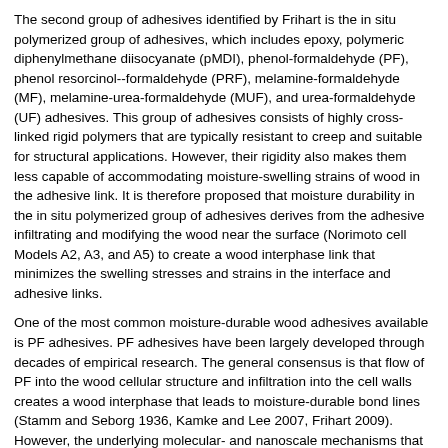The second group of adhesives identified by Frihart is the in situ polymerized group of adhesives, which includes epoxy, polymeric diphenylmethane diisocyanate (pMDI), phenol-formaldehyde (PF), phenol resorcinol--formaldehyde (PRF), melamine-formaldehyde (MF), melamine-urea-formaldehyde (MUF), and urea-formaldehyde (UF) adhesives. This group of adhesives consists of highly cross-linked rigid polymers that are typically resistant to creep and suitable for structural applications. However, their rigidity also makes them less capable of accommodating moisture-swelling strains of wood in the adhesive link. It is therefore proposed that moisture durability in the in situ polymerized group of adhesives derives from the adhesive infiltrating and modifying the wood near the surface (Norimoto cell Models A2, A3, and A5) to create a wood interphase link that minimizes the swelling stresses and strains in the interface and adhesive links.
One of the most common moisture-durable wood adhesives available is PF adhesives. PF adhesives have been largely developed through decades of empirical research. The general consensus is that flow of PF into the wood cellular structure and infiltration into the cell walls creates a wood interphase that leads to moisture-durable bond lines (Stamm and Seborg 1936, Kamke and Lee 2007, Frihart 2009). However, the underlying molecular- and nanoscale mechanisms that give PF adhesives their moisture durability are not fully understood. An improved mechanistic understanding of how PF adhesives produce moisture-durable bond lines would accelerate the development of improved and new types of wood adhesives, such as adhesives from renewable resources to replace those derived from petroleum, and formaldehyde-free adhesives to replace adhesives that use formaldehyde.
In this article, we introduce and briefly review four recently developed